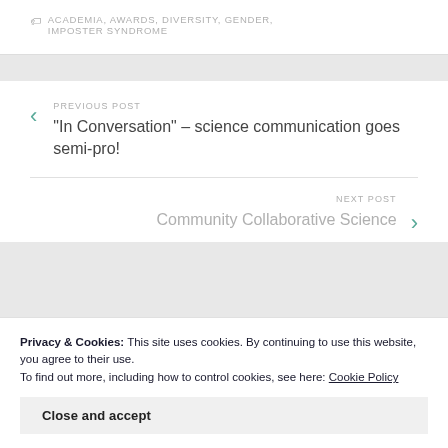ACADEMIA, AWARDS, DIVERSITY, GENDER, IMPOSTER SYNDROME
PREVIOUS POST
“In Conversation” – science communication goes semi-pro!
NEXT POST
Community Collaborative Science
Privacy & Cookies: This site uses cookies. By continuing to use this website, you agree to their use.
To find out more, including how to control cookies, see here: Cookie Policy
Close and accept